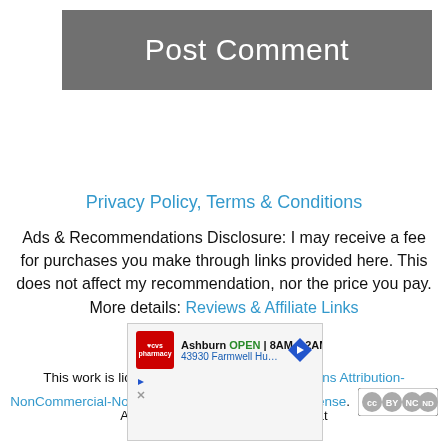[Figure (screenshot): Gray 'Post Comment' button]
Privacy Policy, Terms & Conditions
Ads & Recommendations Disclosure: I may receive a fee for purchases you make through links provided here. This does not affect my recommendation, nor the price you pay. More details: Reviews & Affiliate Links
This work is licensed under a Creative Commons Attribution-NonCommercial-NoDerivatives 4.0 International License. Additional information is available at
[Figure (screenshot): CVS Pharmacy advertisement showing Ashburn location, OPEN 8AM–12AM, 43930 Farmwell Hunt Plaza, Ash...]